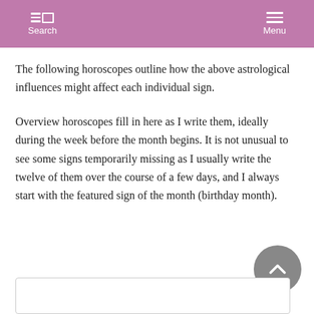Search  Menu
The following horoscopes outline how the above astrological influences might affect each individual sign.
Overview horoscopes fill in here as I write them, ideally during the week before the month begins. It is not unusual to see some signs temporarily missing as I usually write the twelve of them over the course of a few days, and I always start with the featured sign of the month (birthday month).